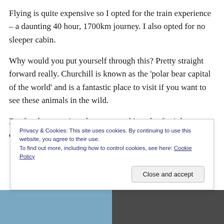Flying is quite expensive so I opted for the train experience – a daunting 40 hour, 1700km journey. I also opted for no sleeper cabin.
Why would you put yourself through this? Pretty straight forward really. Churchill is known as the 'polar bear capital of the world' and is a fantastic place to visit if you want to see these animals in the wild.
But for the meantime there was nothing else for it but to get comfortable (lots of legroom, yay) and alternate
Privacy & Cookies: This site uses cookies. By continuing to use this website, you agree to their use.
To find out more, including how to control cookies, see here: Cookie Policy
[Figure (photo): Partial bottom image showing what appears to be a train interior/exterior, partially obscured by cookie consent banner]